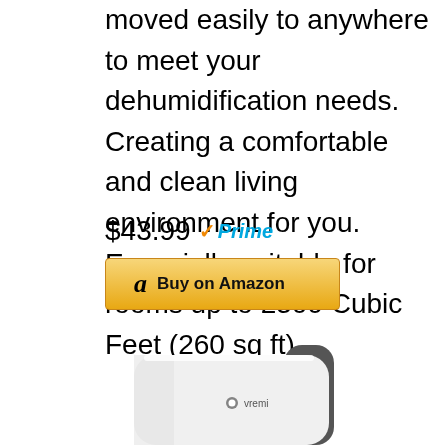moved easily to anywhere to meet your dehumidification needs. Creating a comfortable and clean living environment for you. Especially suitable for rooms up to 2500 Cubic Feet (260 sq ft).
$43.99 Prime
[Figure (other): Buy on Amazon button with Amazon logo]
[Figure (photo): Vremi branded dehumidifier appliance, white and dark gray color, compact rectangular shape]